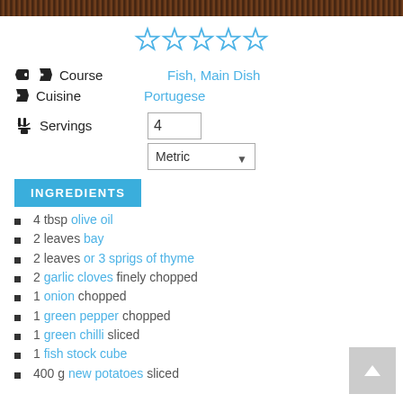[Figure (photo): Top strip showing a dark brown textured food image (appears to be a cooked dish)]
[Figure (other): 5 empty/outline star rating icons in blue]
Course   Fish, Main Dish
Cuisine   Portugese
Servings   4   Metric
INGREDIENTS
4 tbsp olive oil
2 leaves bay
2 leaves or 3 sprigs of thyme
2 garlic cloves finely chopped
1 onion chopped
1 green pepper chopped
1 green chilli sliced
1 fish stock cube
400 g new potatoes sliced